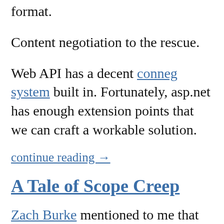format.
Content negotiation to the rescue.
Web API has a decent conneg system built in. Fortunately, asp.net has enough extension points that we can craft a workable solution.
continue reading →
A Tale of Scope Creep
Zach Burke mentioned to me that he wanted to add a 404 page to his new blog. Sounds like a good idea,